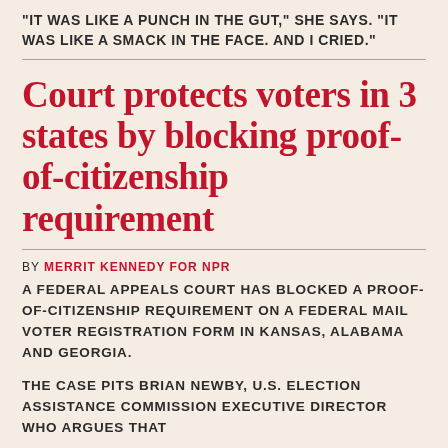"IT WAS LIKE A PUNCH IN THE GUT," SHE SAYS. "IT WAS LIKE A SMACK IN THE FACE. AND I CRIED."
Court protects voters in 3 states by blocking proof-of-citizenship requirement
BY MERRIT KENNEDY FOR NPR
A FEDERAL APPEALS COURT HAS BLOCKED A PROOF-OF-CITIZENSHIP REQUIREMENT ON A FEDERAL MAIL VOTER REGISTRATION FORM IN KANSAS, ALABAMA AND GEORGIA.
THE CASE PITS BRIAN NEWBY, U.S. ELECTION ASSISTANCE COMMISSION EXECUTIVE DIRECTOR WHO ARGUES THAT